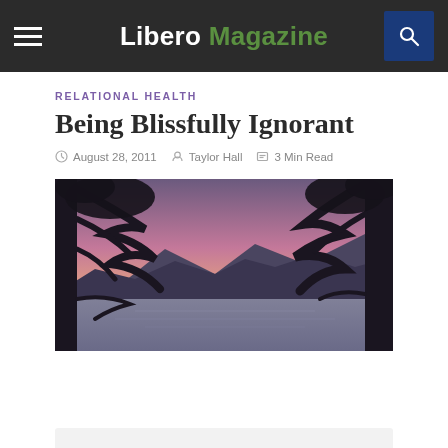Libero Magazine
RELATIONAL HEALTH
Being Blissfully Ignorant
August 28, 2011  Taylor Hall  3 Min Read
[Figure (photo): Sunset landscape photograph showing silhouettes of tall trees framing a calm lake with mountains in the background under a pink and purple sky]